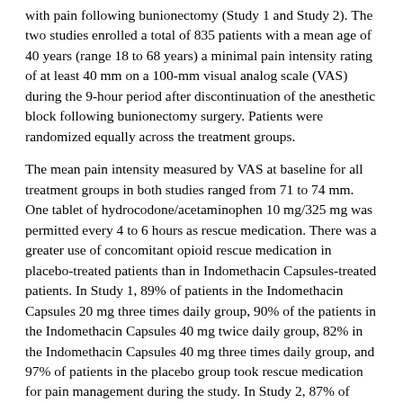with pain following bunionectomy (Study 1 and Study 2). The two studies enrolled a total of 835 patients with a mean age of 40 years (range 18 to 68 years) a minimal pain intensity rating of at least 40 mm on a 100-mm visual analog scale (VAS) during the 9-hour period after discontinuation of the anesthetic block following bunionectomy surgery. Patients were randomized equally across the treatment groups.
The mean pain intensity measured by VAS at baseline for all treatment groups in both studies ranged from 71 to 74 mm. One tablet of hydrocodone/acetaminophen 10 mg/325 mg was permitted every 4 to 6 hours as rescue medication. There was a greater use of concomitant opioid rescue medication in placebo-treated patients than in Indomethacin Capsules-treated patients. In Study 1, 89% of patients in the Indomethacin Capsules 20 mg three times daily group, 90% of the patients in the Indomethacin Capsules 40 mg twice daily group, 82% in the Indomethacin Capsules 40 mg three times daily group, and 97% of patients in the placebo group took rescue medication for pain management during the study. In Study 2, 87% of patients in the Indomethacin Capsules 20 mg three times daily group, 76% of the patients in the Indomethacin Capsules 40 mg twice daily group, 80% in the Indomethacin Capsules 40 mg three times daily group, and 89% of patients in the placebo group took rescue medication for pain management during the study.